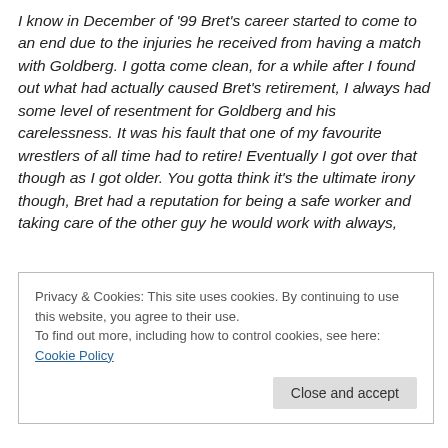I know in December of '99 Bret's career started to come to an end due to the injuries he received from having a match with Goldberg. I gotta come clean, for a while after I found out what had actually caused Bret's retirement, I always had some level of resentment for Goldberg and his carelessness. It was his fault that one of my favourite wrestlers of all time had to retire! Eventually I got over that though as I got older. You gotta think it's the ultimate irony though, Bret had a reputation for being a safe worker and taking care of the other guy he would work with always,
Privacy & Cookies: This site uses cookies. By continuing to use this website, you agree to their use.
To find out more, including how to control cookies, see here: Cookie Policy